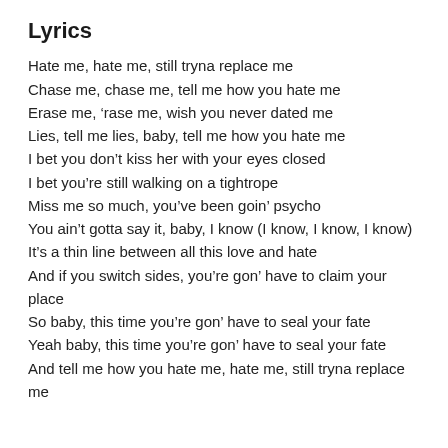Lyrics
Hate me, hate me, still tryna replace me
Chase me, chase me, tell me how you hate me
Erase me, ‘rase me, wish you never dated me
Lies, tell me lies, baby, tell me how you hate me
I bet you don’t kiss her with your eyes closed
I bet you’re still walking on a tightrope
Miss me so much, you’ve been goin’ psycho
You ain’t gotta say it, baby, I know (I know, I know, I know)
It’s a thin line between all this love and hate
And if you switch sides, you’re gon’ have to claim your place
So baby, this time you’re gon’ have to seal your fate
Yeah baby, this time you’re gon’ have to seal your fate
And tell me how you hate me, hate me, still tryna replace me